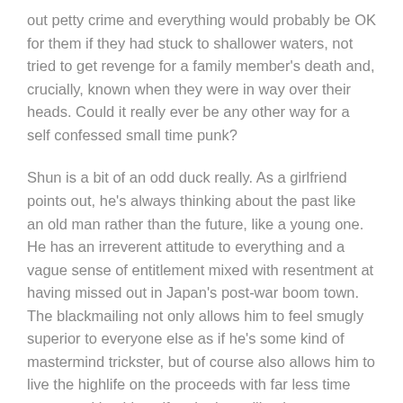out petty crime and everything would probably be OK for them if they had stuck to shallower waters, not tried to get revenge for a family member's death and, crucially, known when they were in way over their heads. Could it really ever be any other way for a self confessed small time punk?
Shun is a bit of an odd duck really. As a girlfriend points out, he's always thinking about the past like an old man rather than the future, like a young one. He has an irreverent attitude to everything and a vague sense of entitlement mixed with resentment at having missed out in Japan's post-war boom town. The blackmailing not only allows him to feel smugly superior to everyone else as if he's some kind of mastermind trickster, but of course also allows him to live the highlife on the proceeds with far less time spent working himself to the bone like the average salaryman.
However, he also has this unexplained sadness, almost as if he's narrating the film from the point of view of its ending despite being